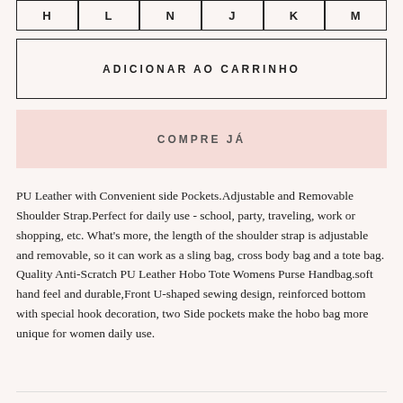| H | L | N | J | K | M |
| --- | --- | --- | --- | --- | --- |
ADICIONAR AO CARRINHO
COMPRE JÁ
PU Leather with Convenient side Pockets.Adjustable and Removable Shoulder Strap.Perfect for daily use - school, party, traveling, work or shopping, etc. What's more, the length of the shoulder strap is adjustable and removable, so it can work as a sling bag, cross body bag and a tote bag.
Quality Anti-Scratch PU Leather Hobo Tote Womens Purse Handbag.soft hand feel and durable,Front U-shaped sewing design, reinforced bottom with special hook decoration, two Side pockets make the hobo bag more unique for women daily use.